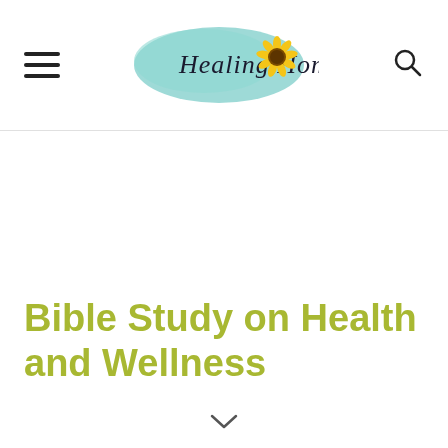Healing Home
Bible Study on Health and Wellness